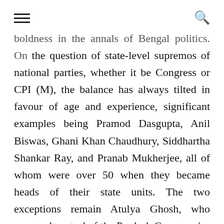[hamburger menu] [search icon]
boldness in the annals of Bengal politics. On the question of state-level supremos of national parties, whether it be Congress or CPI (M), the balance has always tilted in favour of age and experience, significant examples being Pramod Dasgupta, Anil Biswas, Ghani Khan Chaudhury, Siddhartha Shankar Ray, and Pranab Mukherjee, all of whom were over 50 when they became heads of their state units. The two exceptions remain Atulya Ghosh, who assumed control of the Pradesh Congress in